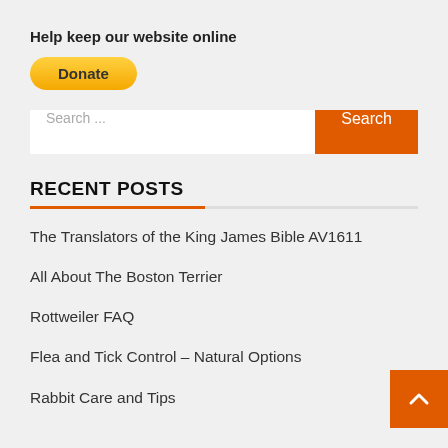Help keep our website online
Donate
Search ...
RECENT POSTS
The Translators of the King James Bible AV1611
All About The Boston Terrier
Rottweiler FAQ
Flea and Tick Control – Natural Options
Rabbit Care and Tips